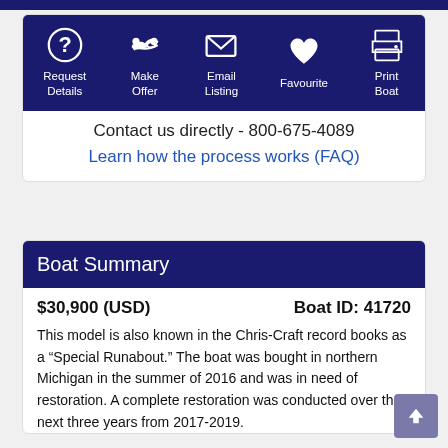[Figure (infographic): Dark navy blue action bar with 5 icon buttons: Request Details (question mark icon), Make Offer (handshake icon), Email Listing (envelope icon), Favourite (heart icon), Print Boat (printer icon), all in white on navy background]
Contact us directly - 800-675-4089
Learn how the process works (FAQ)
Boat Summary
$30,900 (USD)
Boat ID: 41720
This model is also known in the Chris-Craft record books as a “Special Runabout.” The boat was bought in northern Michigan in the summer of 2016 and was in need of restoration. A complete restoration was conducted over the next three years from 2017-2019. This Runabout is coming it’s storied backstory is